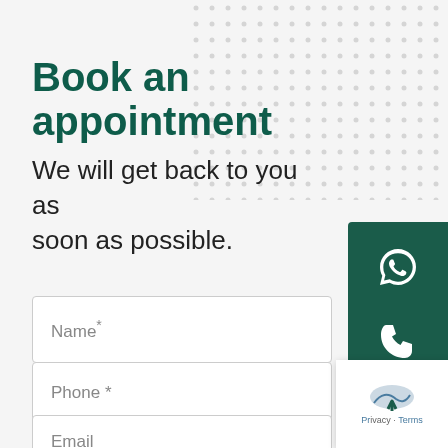[Figure (infographic): Decorative dotted pattern in top-right area of the page, grey dots on light background]
Book an appointment
We will get back to you as soon as possible.
Name*
Phone *
Email
[Figure (infographic): Dark green sidebar panel on right with WhatsApp icon, phone icon, and WeChat icon for contact options]
[Figure (infographic): White back-to-top button with arrow icon at bottom right, with Privacy and Terms text]